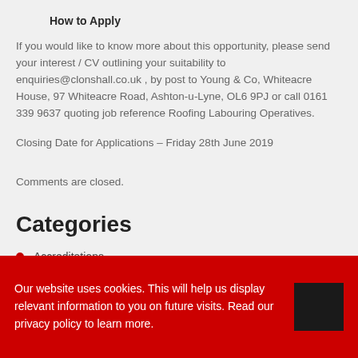How to Apply
If you would like to know more about this opportunity, please send your interest / CV outlining your suitability to enquiries@clonshall.co.uk , by post to Young & Co, Whiteacre House, 97 Whiteacre Road, Ashton-u-Lyne, OL6 9PJ or call 0161 339 9637 quoting job reference Roofing Labouring Operatives.
Closing Date for Applications – Friday 28th June 2019
Comments are closed.
Categories
Accreditations
Our website uses cookies. This will help us display relevant information to you on future visits. Read our privacy policy to learn more.